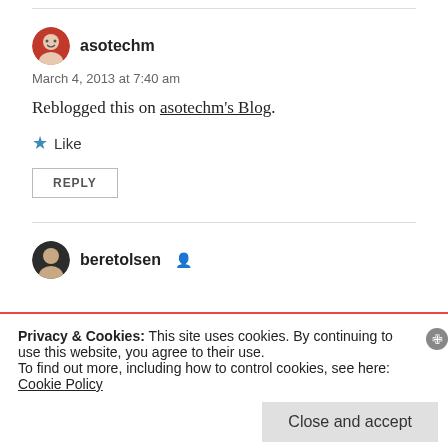asotechm
March 4, 2013 at 7:40 am
Reblogged this on asotechm's Blog.
★ Like
REPLY
beretolsen
Privacy & Cookies: This site uses cookies. By continuing to use this website, you agree to their use.
To find out more, including how to control cookies, see here: Cookie Policy
Close and accept